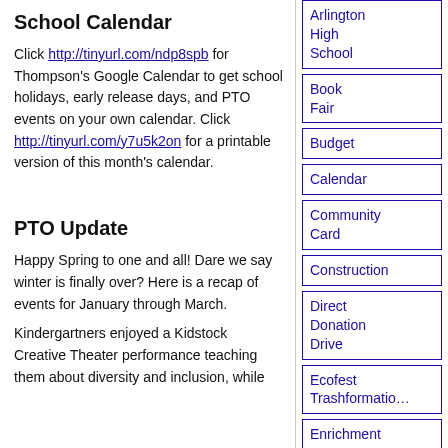School Calendar
Click http://tinyurl.com/ndp8spb for Thompson's Google Calendar to get school holidays, early release days, and PTO events on your own calendar. Click http://tinyurl.com/y7u5k2on for a printable version of this month's calendar.
PTO Update
Happy Spring to one and all! Dare we say winter is finally over? Here is a recap of events for January through March.
Kindergartners enjoyed a Kidstock Creative Theater performance teaching them about diversity and inclusion, while
Arlington High School
Book Fair
Budget
Calendar
Community Card
Construction
Direct Donation Drive
Ecofest Trashformation
Enrichment